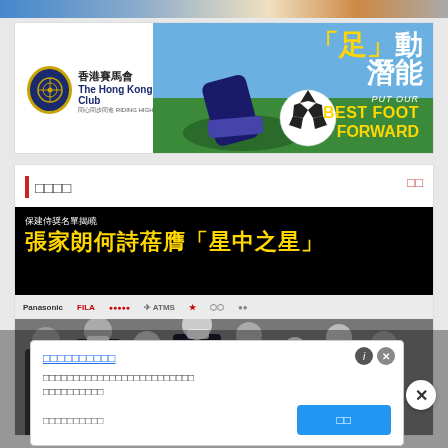[Figure (photo): Top decorative strip with colorful gradient sports imagery]
[Figure (photo): Hong Kong Jockey Club advertisement banner: logo on left, football/soccer imagery on right with Chinese text '「足」動潛能' and English text 'PUT OUR BEST FOOT FORWARD']
□□□□
[Figure (photo): Sports award article image: headline '保建侍奨名單揭曉 張家朗何詩蓓膺「星中之星」' with group photo of award recipients wearing masks, sponsors Panasonic and FILA visible]
[Figure (screenshot): Pop-up advertisement overlay with blue link text, description text in Chinese characters, and a blue confirmation button. Info and close icons in top right corner.]